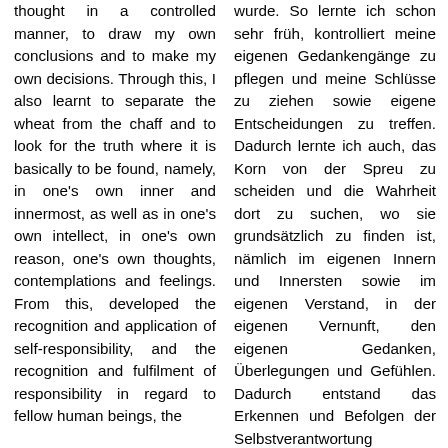thought in a controlled manner, to draw my own conclusions and to make my own decisions. Through this, I also learnt to separate the wheat from the chaff and to look for the truth where it is basically to be found, namely, in one's own inner and innermost, as well as in one's own intellect, in one's own reason, one's own thoughts, contemplations and feelings. From this, developed the recognition and application of self-responsibility, and the recognition and fulfilment of responsibility in regard to fellow human beings, the
wurde. So lernte ich schon sehr früh, kontrolliert meine eigenen Gedankengänge zu pflegen und meine Schlüsse zu ziehen sowie eigene Entscheidungen zu treffen. Dadurch lernte ich auch, das Korn von der Spreu zu scheiden und die Wahrheit dort zu suchen, wo sie grundsätzlich zu finden ist, nämlich im eigenen Innern und Innersten sowie im eigenen Verstand, in der eigenen Vernunft, den eigenen Gedanken, Überlegungen und Gefühlen. Dadurch entstand das Erkennen und Befolgen der Selbstverantwortung